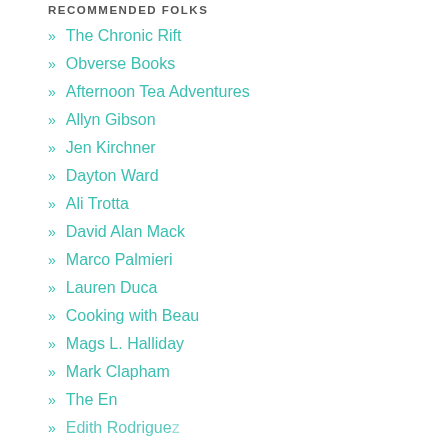RECOMMENDED FOLKS
The Chronic Rift
Obverse Books
Afternoon Tea Adventures
Allyn Gibson
Jen Kirchner
Dayton Ward
Ali Trotta
David Alan Mack
Marco Palmieri
Lauren Duca
Cooking with Beau
Mags L. Halliday
Mark Clapham
The En
Edith Rodriguez